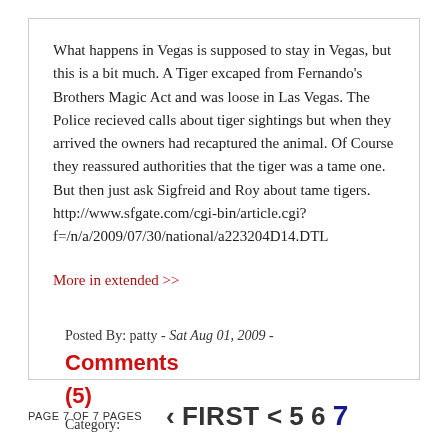What happens in Vegas is supposed to stay in Vegas, but this is a bit much. A Tiger excaped from Fernando's Brothers Magic Act and was loose in Las Vegas. The Police recieved calls about tiger sightings but when they arrived the owners had recaptured the animal. Of Course they reassured authorities that the tiger was a tame one. But then just ask Sigfreid and Roy about tame tigers. http://www.sfgate.com/cgi-bin/article.cgi?f=/n/a/2009/07/30/national/a223204D14.DTL
More in extended >>
Posted By: patty - Sat Aug 01, 2009 - Comments (5)
Category:
Page 7 of 7 pages  ‹ First < 5 6 7